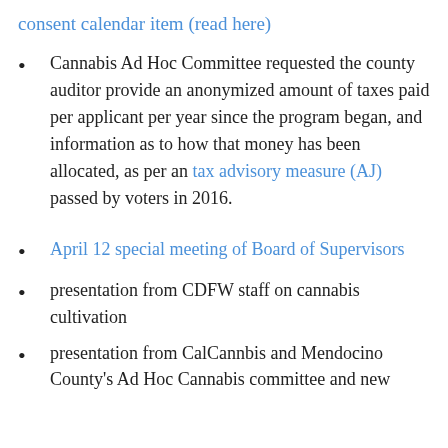consent calendar item (read here)
Cannabis Ad Hoc Committee requested the county auditor provide an anonymized amount of taxes paid per applicant per year since the program began, and information as to how that money has been allocated, as per an tax advisory measure (AJ) passed by voters in 2016.
April 12 special meeting of Board of Supervisors
presentation from CDFW staff on cannabis cultivation
presentation from CalCannbis and Mendocino County's Ad Hoc Cannabis committee and new